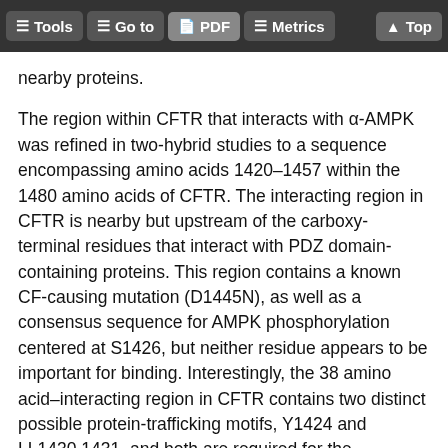Tools | Go to | PDF | Metrics | Top
nearby proteins.
The region within CFTR that interacts with α-AMPK was refined in two-hybrid studies to a sequence encompassing amino acids 1420–1457 within the 1480 amino acids of CFTR. The interacting region in CFTR is nearby but upstream of the carboxy-terminal residues that interact with PDZ domain-containing proteins. This region contains a known CF-causing mutation (D1445N), as well as a consensus sequence for AMPK phosphorylation centered at S1426, but neither residue appears to be important for binding. Interestingly, the 38 amino acid–interacting region in CFTR contains two distinct possible protein-trafficking motifs, Y1424 and LL1430,1431, and both are required for the